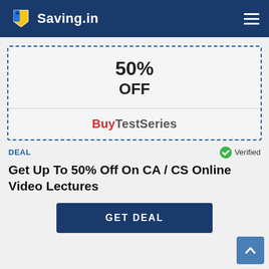Saving.in
[Figure (infographic): Coupon card with dashed border showing 50% OFF and BuyTestSeries brand name]
DEAL
Verified
Get Up To 50% Off On CA / CS Online Video Lectures
GET DEAL